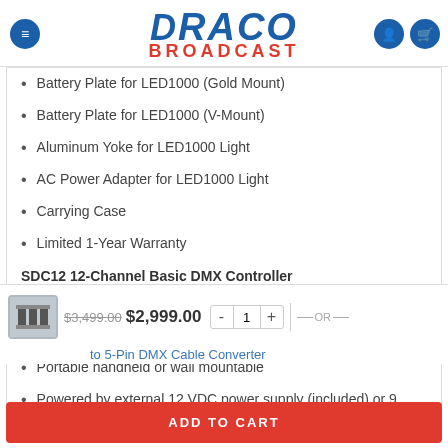[Figure (logo): Draco Broadcast logo — DRACO in large bold italic blue text, BROADCAST in bold red text below]
Battery Plate for LED1000 (Gold Mount)
Battery Plate for LED1000 (V-Mount)
Aluminum Yoke for LED1000 Light
AC Power Adapter for LED1000 Light
Carrying Case
Limited 1-Year Warranty
SDC12 12-Channel Basic DMX Controller
12 DMX channel faders
Master dimmer fader
Portable handheld or wall mountable
Powered by external 12 VDC power supply (included) or 9
V battery (not included)
$3,499.00  $2,999.00   - 1 + — OR —
to 5-Pin DMX Cable Converter
ADD TO CART